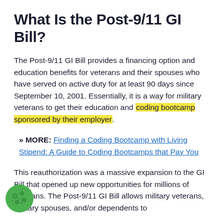What Is the Post-9/11 GI Bill?
The Post-9/11 GI Bill provides a financing option and education benefits for veterans and their spouses who have served on active duty for at least 90 days since September 10, 2001. Essentially, it is a way for military veterans to get their education and coding bootcamp sponsored by their employer.
» MORE: Finding a Coding Bootcamp with Living Stipend: A Guide to Coding Bootcamps that Pay You
This reauthorization was a massive expansion to the GI Bill that opened up new opportunities for millions of veterans. The Post-9/11 GI Bill allows military veterans, military spouses, and/or dependents to